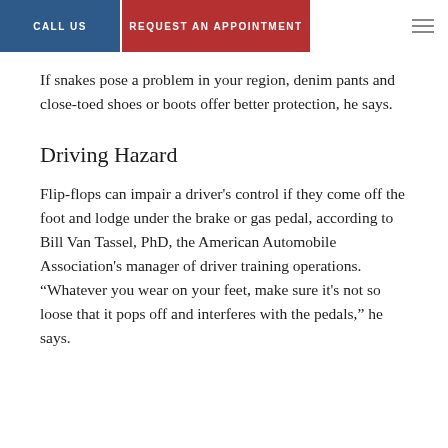CALL US | REQUEST AN APPOINTMENT
If snakes pose a problem in your region, denim pants and close-toed shoes or boots offer better protection, he says.
Driving Hazard
Flip-flops can impair a driver's control if they come off the foot and lodge under the brake or gas pedal, according to Bill Van Tassel, PhD, the American Automobile Association's manager of driver training operations. “Whatever you wear on your feet, make sure it's not so loose that it pops off and interferes with the pedals,” he says.